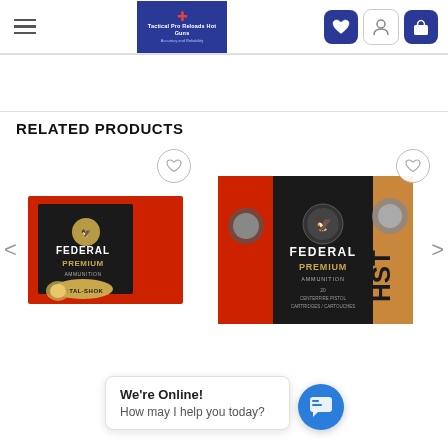[Figure (screenshot): E-commerce website header with hamburger menu, blue logo 'Tactical Pro Reloads Hot Guns', and icons for wishlist, account, and cart]
RELATED PRODUCTS
[Figure (photo): Federal Premium Vital-Shok ammunition box, red and black packaging]
[Figure (photo): Federal Premium HST ammunition box, large red and black packaging]
We're Online!
How may I help you today?